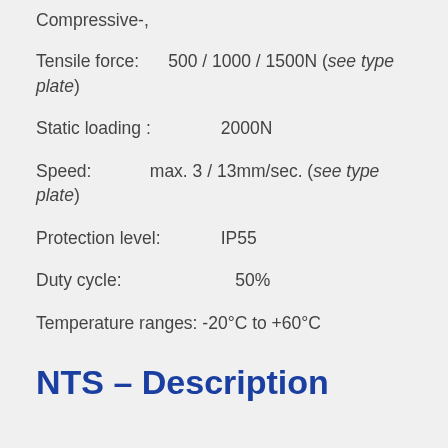Compressive-,
Tensile force: 500 / 1000 / 1500N (see type plate)
Static loading : 2000N
Speed: max. 3 / 13mm/sec. (see type plate)
Protection level: IP55
Duty cycle: 50%
Temperature ranges: -20°C to +60°C
NTS – Description